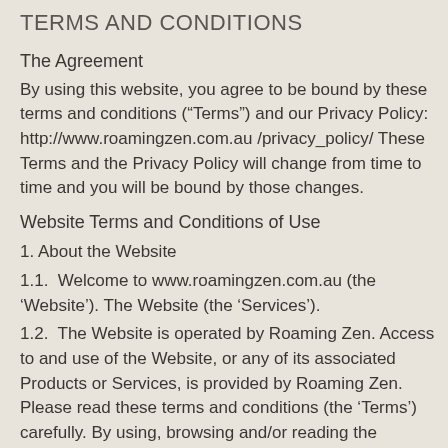TERMS AND CONDITIONS
The Agreement
By using this website, you agree to be bound by these terms and conditions (“Terms”) and our Privacy Policy: http://www.roamingzen.com.au /privacy_policy/ These Terms and the Privacy Policy will change from time to time and you will be bound by those changes.
Website Terms and Conditions of Use
1. About the Website
1.1.  Welcome to www.roamingzen.com.au (the ‘Website’). The Website (the ‘Services’).
1.2.  The Website is operated by Roaming Zen. Access to and use of the Website, or any of its associated Products or Services, is provided by Roaming Zen. Please read these terms and conditions (the ‘Terms’) carefully. By using, browsing and/or reading the Website, this signifies that you have read, understood and agree to be bound by the Terms. If you do not agree